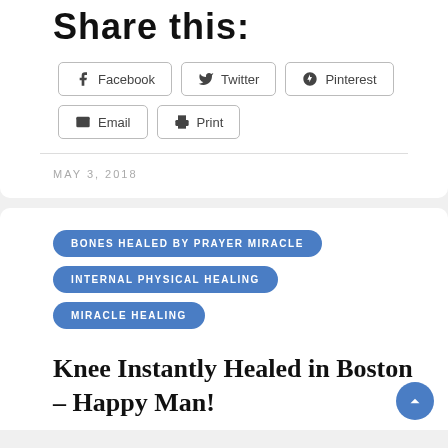Share this:
Facebook
Twitter
Pinterest
Email
Print
MAY 3, 2018
BONES HEALED BY PRAYER MIRACLE
INTERNAL PHYSICAL HEALING
MIRACLE HEALING
Knee Instantly Healed in Boston – Happy Man!